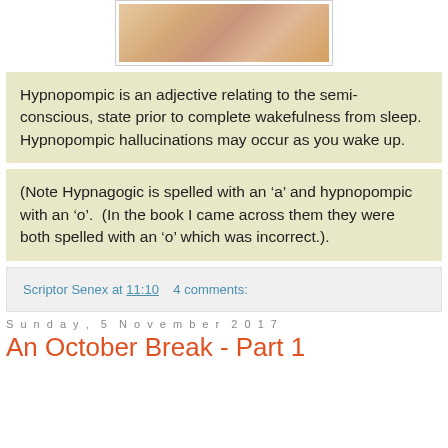[Figure (photo): Partial photo of a person lying down, cropped view showing warm orange/brown tones]
Hypnopompic is an adjective relating to the semi-conscious, state prior to complete wakefulness from sleep.  Hypnopompic hallucinations may occur as you wake up.
(Note Hypnagogic is spelled with an 'a' and hypnopompic with an 'o'.  (In the book I came across them they were both spelled with an 'o' which was incorrect.).
Scriptor Senex at 11:10    4 comments:
Sunday, 5 November 2017
An October Break - Part 1